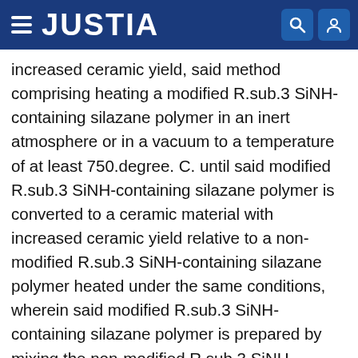JUSTIA
increased ceramic yield, said method comprising heating a modified R.sub.3 SiNH-containing silazane polymer in an inert atmosphere or in a vacuum to a temperature of at least 750.degree. C. until said modified R.sub.3 SiNH-containing silazane polymer is converted to a ceramic material with increased ceramic yield relative to a non-modified R.sub.3 SiNH-containing silazane polymer heated under the same conditions, wherein said modified R.sub.3 SiNH-containing silazane polymer is prepared by mixing the non-modified R.sub.3 SiNH-containing silazane polymer with an effective, ceramic yield increasing, amount of a metal or metal compound, wherein said non-modified R.sub.3 SiNH-containing silazane polymer is prepared by contacting and reacting in an inert, essentially anhydrous atmosphere, an organochlorosilane or a mixture of organochlorosilanes of general formula